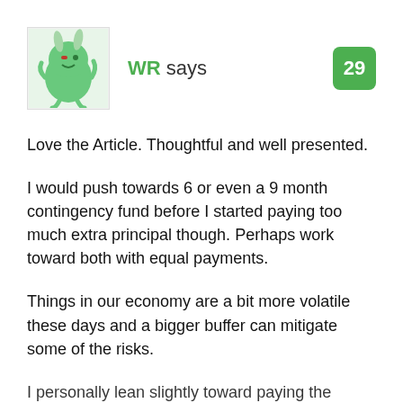[Figure (illustration): Avatar image of a cartoon green ghost-like character with bunny ears]
WR says
29
Love the Article. Thoughtful and well presented.
I would push towards 6 or even a 9 month contingency fund before I started paying too much extra principal though. Perhaps work toward both with equal payments.
Things in our economy are a bit more volatile these days and a bigger buffer can mitigate some of the risks.
I personally lean slightly toward paying the